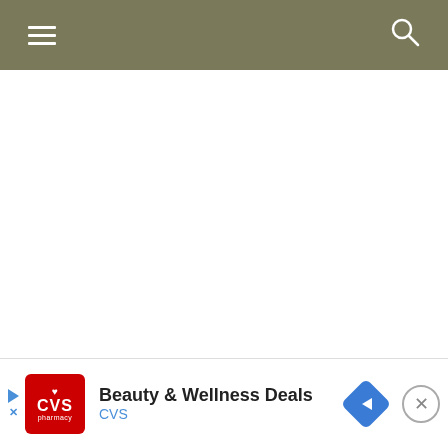Navigation bar with hamburger menu and search icon
[Figure (screenshot): Blank white content area below navigation bar]
[Figure (infographic): CVS Pharmacy advertisement banner: 'Beauty & Wellness Deals' with CVS logo, blue navigation diamond icon, and close button]